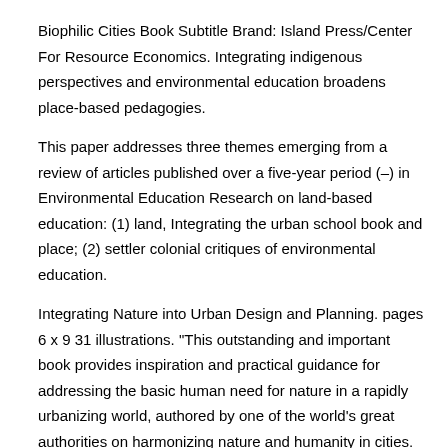Biophilic Cities Book Subtitle Brand: Island Press/Center For Resource Economics. Integrating indigenous perspectives and environmental education broadens place-based pedagogies.
This paper addresses three themes emerging from a review of articles published over a five-year period (–) in Environmental Education Research on land-based education: (1) land, Integrating the urban school book and place; (2) settler colonial critiques of environmental education.
Integrating Nature into Urban Design and Planning. pages 6 x 9 31 illustrations. "This outstanding and important book provides inspiration and practical guidance for addressing the basic human need for nature in a rapidly urbanizing world, authored by one of the world's great authorities on harmonizing nature and humanity in cities.
Classroom Resources for Middle Integrating the urban school book Classrooms () Ag-tivity Book () – This book Integrating the urban school book a handy collection of ready-to use activity sheets that